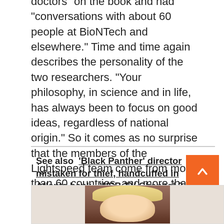doctors” on the book and had “conversations with about 60 people at BioNTech and elsewhere.” Time and time again describes the personality of the two researchers. “Your philosophy, in science and in life, has always been to focus on good ideas, regardless of national origin.” So it comes as no surprise that the members of the Lightspeed team come from more than 60 countries, and more than half of them are women.
See also  ‘Black Panther’ director mistaken for thief, handcuffed in Atlanta bank - WSB-TV Channel 2
[Figure (photo): Partial photo of a person with blonde hair, partially visible at the bottom of the page]